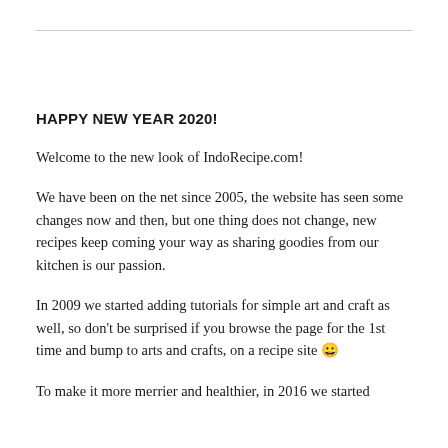HAPPY NEW YEAR 2020!
Welcome to the new look of IndoRecipe.com!
We have been on the net since 2005, the website has seen some changes now and then, but one thing does not change, new recipes keep coming your way as sharing goodies from our kitchen is our passion.
In 2009 we started adding tutorials for simple art and craft as well, so don't be surprised if you browse the page for the 1st time and bump to arts and crafts, on a recipe site 😀
To make it more merrier and healthier, in 2016 we started